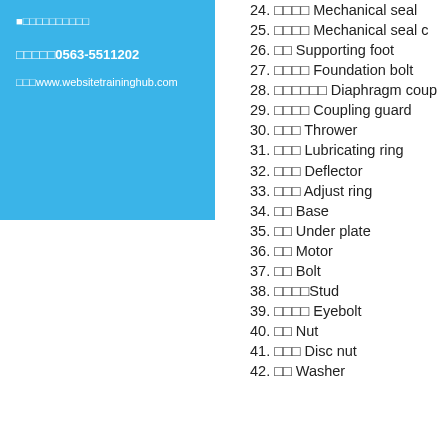会社名テキスト
電話番号0563-5511202
URLwww.websitetraininghub.com
24. 部品名 Mechanical seal
25. 部品名 Mechanical seal c
26. 脚台 Supporting foot
27. 基礎ボルト Foundation bolt
28. ダイヤフラム Diaphragm coup
29. カップリング Coupling guard
30. スロー Thrower
31. 注油 Lubricating ring
32. デフレ Deflector
33. 調整 Adjust ring
34. 台 Base
35. 下板 Under plate
36. モータ Motor
37. ボルト Bolt
38. スタッドStud
39. アイボルト Eyebolt
40. ナット Nut
41. 皿ナット Disc nut
42. ワッシャ Washer